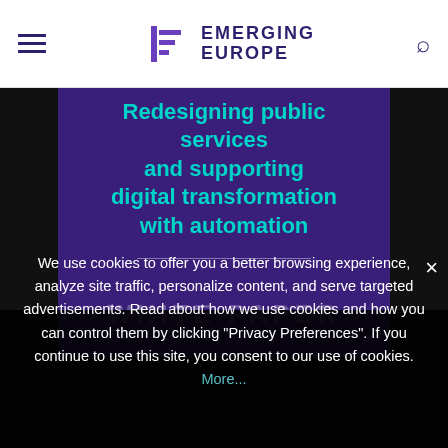Emerging Europe
Redesigning public services and supporting digital transformation with automation
WHITE PAPER
We use cookies to offer you a better browsing experience, analyze site traffic, personalize content, and serve targeted advertisements. Read about how we use cookies and how you can control them by clicking "Privacy Preferences". If you continue to use this site, you consent to our use of cookies. More...